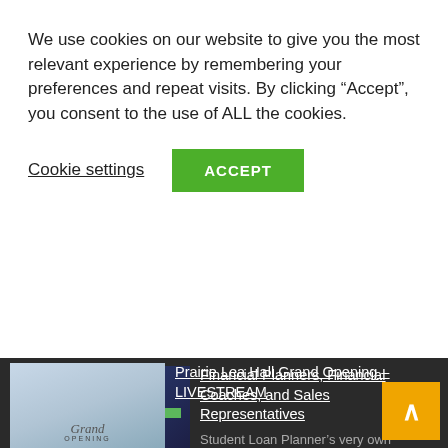We use cookies on our website to give you the most relevant experience by remembering your preferences and repeat visits. By clicking “Accept”, you consent to the use of ALL the cookies.
Cookie settings
ACCEPT
[Figure (photo): Thumbnail image for podcast/article about Financial Planners, Financial Coaches, and Sales Representatives, showing three circular portrait photos against a dark blue background with green banner text.]
Financial Planners, Financial Coaches, and Sales Representatives
Student Loan Planner’s very own Meagan Landress, CSLP®, and Sim Terwilliger, CFP®, CSLP®, sit down to discuss the differences between financial planners, financial coaches, and sales representatives. This is an important conversation that will give you more confidence and clarity when it comes to […]
[Figure (photo): Thumbnail image for Prairie Lea Hall Grand Opening Livestream, showing a building exterior with Grand Opening text.]
Prairie Lea Hall Grand Opening – LIVESTREAM